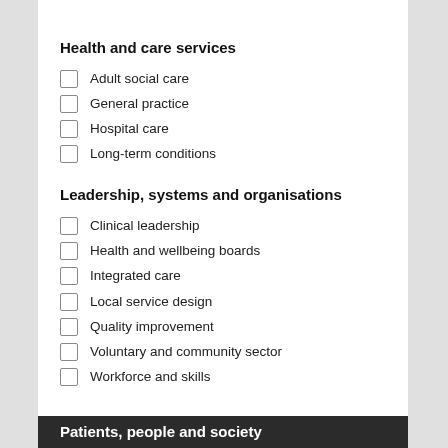Health and care services
Adult social care
General practice
Hospital care
Long-term conditions
Leadership, systems and organisations
Clinical leadership
Health and wellbeing boards
Integrated care
Local service design
Quality improvement
Voluntary and community sector
Workforce and skills
Patients, people and society